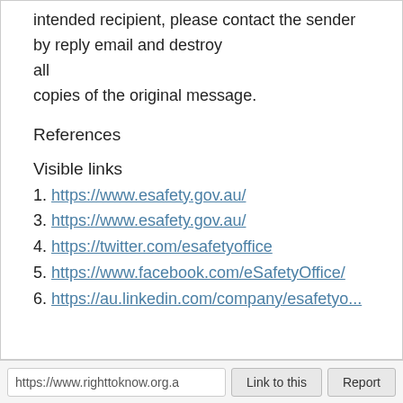intended recipient, please contact the sender by reply email and destroy all copies of the original message.
References
Visible links
1. https://www.esafety.gov.au/
3. https://www.esafety.gov.au/
4. https://twitter.com/esafetyoffice
5. https://www.facebook.com/eSafetyOffice/
6. https://au.linkedin.com/company/esafetyo...
https://www.righttoknow.org.a   Link to this   Report